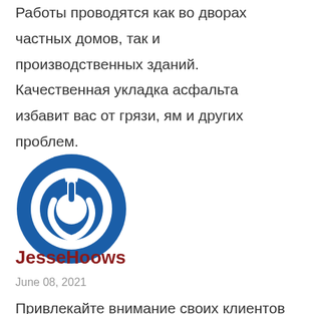Работы проводятся как во дворах частных домов, так и производственных зданий. Качественная укладка асфальта избавит вас от грязи, ям и других проблем.
[Figure (logo): Circular power button icon in blue and white, resembling a company logo]
JesseHoows
June 08, 2021
Привлекайте внимание своих клиентов таким простым способом Белт-лайт создает уют заведению и